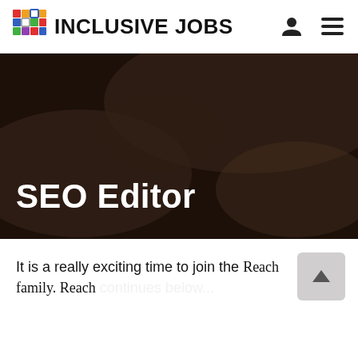INCLUSIVE JOBS
[Figure (photo): Dark-toned hero banner image showing hands writing or signing a document, overlaid with the job listing title 'SEO Editor' in white bold text.]
SEO Editor
It is a really exciting time to join the Reach family. Reach...